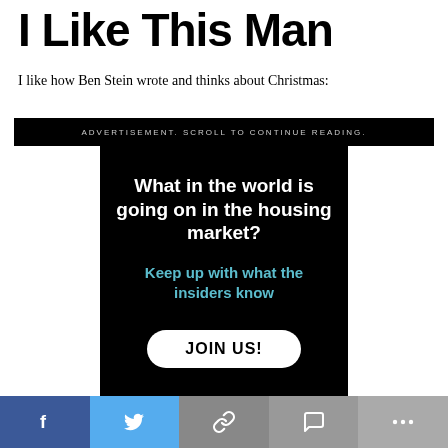I Like This Man
I like how Ben Stein wrote and thinks about Christmas:
[Figure (screenshot): Advertisement banner with black background. Headline: 'What in the world is going on in the housing market?' in white bold text. Subheadline: 'Keep up with what the insiders know' in teal/blue text. A white rounded button labeled 'JOIN US!' at the bottom. Above is a black bar reading 'ADVERTISEMENT. SCROLL TO CONTINUE READING.']
f  [twitter bird]  [link]  [comment]  ...